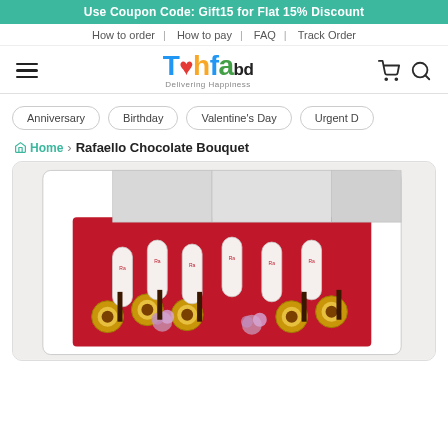Use Coupon Code: Gift15 for Flat 15% Discount
How to order | How to pay | FAQ | Track Order
[Figure (logo): Tohfa.bd logo with Delivering Happiness tagline]
Anniversary
Birthday
Valentine's Day
Urgent D
Home › Rafaello Chocolate Bouquet
[Figure (photo): Rafaello Chocolate Bouquet product photo showing a bouquet with Raffaello candies, Ferrero Rocher chocolates, and dried pink flowers arranged in a white box with red lining]